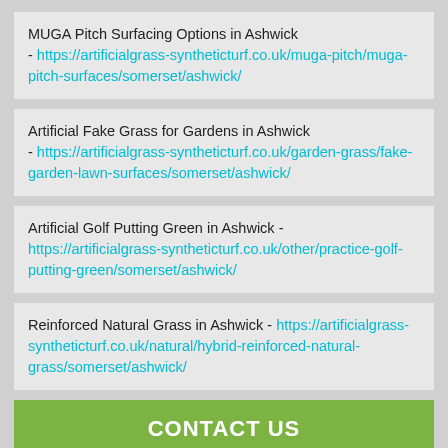MUGA Pitch Surfacing Options in Ashwick - https://artificialgrass-syntheticturf.co.uk/muga-pitch/muga-pitch-surfaces/somerset/ashwick/
Artificial Fake Grass for Gardens in Ashwick - https://artificialgrass-syntheticturf.co.uk/garden-grass/fake-garden-lawn-surfaces/somerset/ashwick/
Artificial Golf Putting Green in Ashwick - https://artificialgrass-syntheticturf.co.uk/other/practice-golf-putting-green/somerset/ashwick/
Reinforced Natural Grass in Ashwick - https://artificialgrass-syntheticturf.co.uk/natural/hybrid-reinforced-natural-grass/somerset/ashwick/
CONTACT US